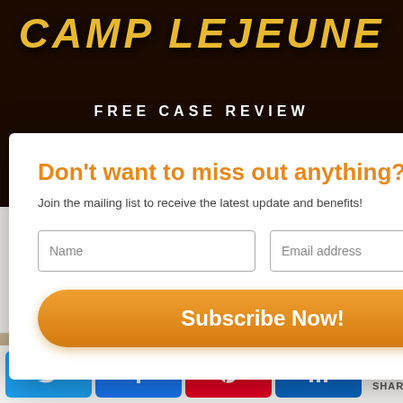[Figure (screenshot): Camp Lejeune Free Case Review banner - dark background with yellow distressed text 'CAMP LEJEUNE' and white text 'FREE CASE REVIEW']
[Figure (photo): Close-up photo of a person's leg/skin, visible below the modal popup]
[Figure (screenshot): Email subscription modal popup with orange title 'Don't want to miss out anything?', subtitle text, Name and Email address input fields, and orange Subscribe Now! button with X close button]
Don't want to miss out anything?
Join the mailing list to receive the latest update and benefits!
[Figure (infographic): Social share bar with Twitter, Facebook, Pinterest, LinkedIn buttons and share count showing 0 SHARES]